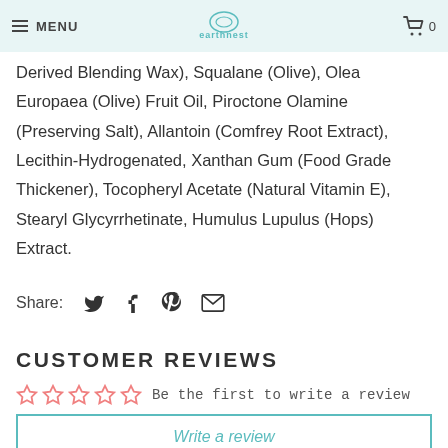MENU | earthnest logo | Cart 0
Derived Blending Wax), Squalane (Olive), Olea Europaea (Olive) Fruit Oil, Piroctone Olamine (Preserving Salt), Allantoin (Comfrey Root Extract), Lecithin-Hydrogenated, Xanthan Gum (Food Grade Thickener), Tocopheryl Acetate (Natural Vitamin E), Stearyl Glycyrrhetinate, Humulus Lupulus (Hops) Extract.
Share:
CUSTOMER REVIEWS
Be the first to write a review
Write a review